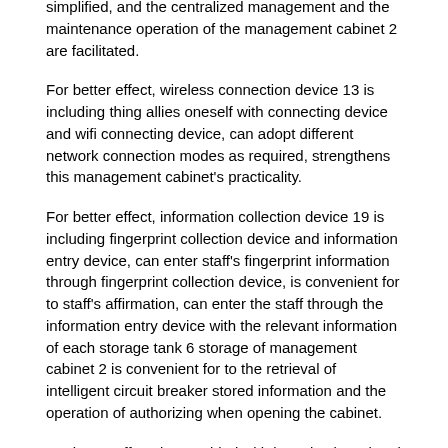simplified, and the centralized management and the maintenance operation of the management cabinet 2 are facilitated.
For better effect, wireless connection device 13 is including thing allies oneself with connecting device and wifi connecting device, can adopt different network connection modes as required, strengthens this management cabinet's practicality.
For better effect, information collection device 19 is including fingerprint collection device and information entry device, can enter staff's fingerprint information through fingerprint collection device, is convenient for to staff's affirmation, can enter the staff through the information entry device with the relevant information of each storage tank 6 storage of management cabinet 2 is convenient for to the retrieval of intelligent circuit breaker stored information and the operation of authorizing when opening the cabinet.
For better effect, be provided with input keyboard and display screen on authorizing remote control unit 1, be convenient for type and show of information, improve